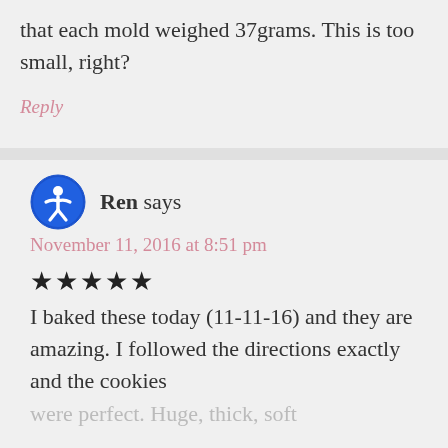that each mold weighed 37grams. This is too small, right?
Reply
Ren says
November 11, 2016 at 8:51 pm
[Figure (other): 5 filled black stars rating]
I baked these today (11-11-16) and they are amazing. I followed the directions exactly and the cookies were perfect. Huge, thick, soft